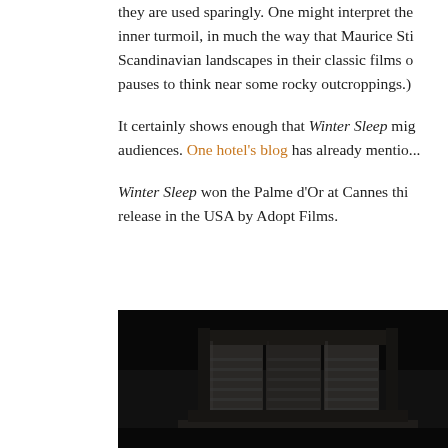they are used sparingly. One might interpret the inner turmoil, in much the way that Maurice Sti... Scandinavian landscapes in their classic films o... pauses to think near some rocky outcroppings.)
It certainly shows enough that Winter Sleep mig... audiences. One hotel's blog has already mentio...
Winter Sleep won the Palme d'Or at Cannes thi... release in the USA by Adopt Films.
[Figure (photo): Dark moody black and white photograph showing wooden architectural details, possibly shutters or panels, in very low light]